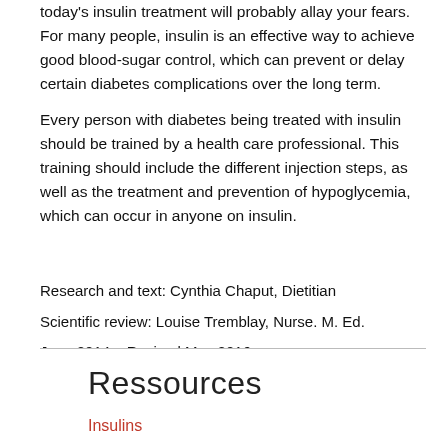today's insulin treatment will probably allay your fears. For many people, insulin is an effective way to achieve good blood-sugar control, which can prevent or delay certain diabetes complications over the long term.
Every person with diabetes being treated with insulin should be trained by a health care professional. This training should include the different injection steps, as well as the treatment and prevention of hypoglycemia, which can occur in anyone on insulin.
Research and text: Cynthia Chaput, Dietitian
Scientific review: Louise Tremblay, Nurse. M. Ed.
June 2014 – Revised May 2016
Ressources
Insulins